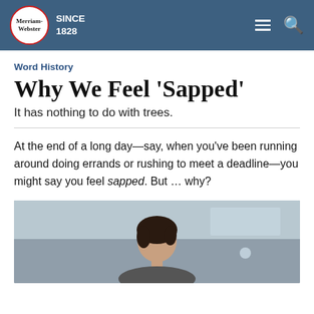Merriam-Webster SINCE 1828
Word History
Why We Feel 'Sapped'
It has nothing to do with trees.
At the end of a long day—say, when you've been running around doing errands or rushing to meet a deadline—you might say you feel sapped. But ... why?
[Figure (photo): A person with dark hair, photographed from the shoulders up against a blurred interior background.]